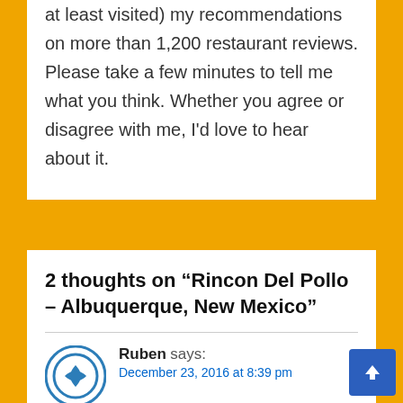at least visited) my recommendations on more than 1,200 restaurant reviews. Please take a few minutes to tell me what you think. Whether you agree or disagree with me, I'd love to hear about it.
2 thoughts on “Rincon Del Pollo – Albuquerque, New Mexico”
Ruben says: December 23, 2016 at 8:39 pm